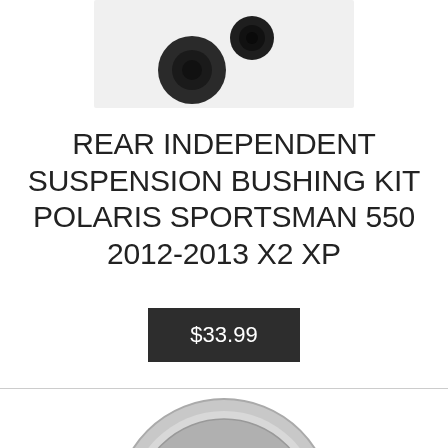[Figure (photo): Partial product photo of small rubber/metal bushing kit components on white background, cropped at top]
REAR INDEPENDENT SUSPENSION BUSHING KIT POLARIS SPORTSMAN 550 2012-2013 X2 XP
$33.99
[Figure (photo): Silver/chrome steel wheel rim with 8 spokes and 4-lug pattern, bottom portion of product listing]